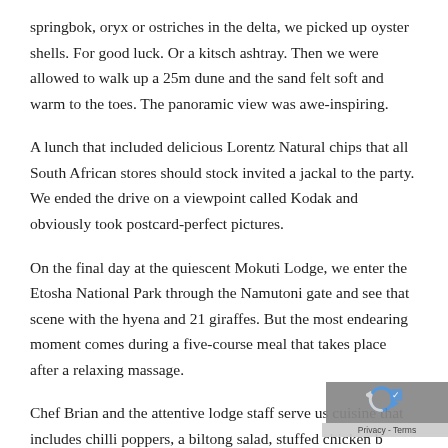springbok, oryx or ostriches in the delta, we picked up oyster shells. For good luck. Or a kitsch ashtray. Then we were allowed to walk up a 25m dune and the sand felt soft and warm to the toes. The panoramic view was awe-inspiring.
A lunch that included delicious Lorentz Natural chips that all South African stores should stock invited a jackal to the party. We ended the drive on a viewpoint called Kodak and obviously took postcard-perfect pictures.
On the final day at the quiescent Mokuti Lodge, we enter the Etosha National Park through the Namutoni gate and see that scene with the hyena and 21 giraffes. But the most endearing moment comes during a five-course meal that takes place after a relaxing massage.
Chef Brian and the attentive lodge staff serve us cuisine that includes chilli poppers, a biltong salad, stuffed chicken b...
[Figure (other): Cookie consent badge with reCAPTCHA-style icon and 'Privacy - Terms' label, grey background, bottom-right corner overlay]